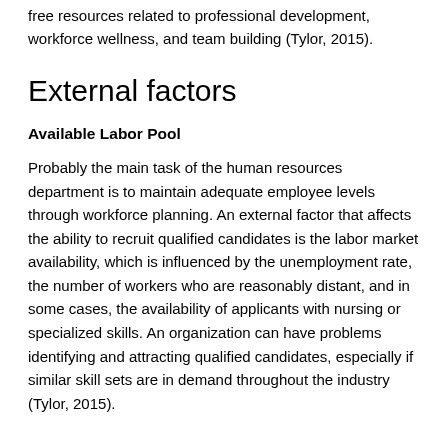free resources related to professional development, workforce wellness, and team building (Tylor, 2015).
External factors
Available Labor Pool
Probably the main task of the human resources department is to maintain adequate employee levels through workforce planning. An external factor that affects the ability to recruit qualified candidates is the labor market availability, which is influenced by the unemployment rate, the number of workers who are reasonably distant, and in some cases, the availability of applicants with nursing or specialized skills. An organization can have problems identifying and attracting qualified candidates, especially if similar skill sets are in demand throughout the industry (Tylor, 2015).